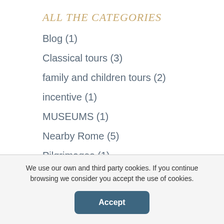ALL THE CATEGORIES
Blog (1)
Classical tours (3)
family and children tours (2)
incentive (1)
MUSEUMS (1)
Nearby Rome (5)
Pilgrimages (1)
Shore excursions (1)
Silent Rome (5)
We use our own and third party cookies. If you continue browsing we consider you accept the use of cookies.
Accept